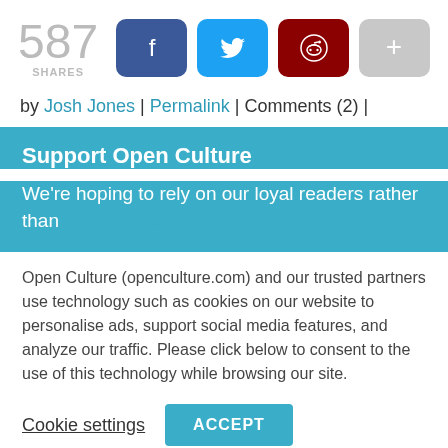[Figure (infographic): Social share bar showing 587 shares, with Facebook (blue), Twitter (cyan), Reddit (dark red), and a grey more (+) button]
by Josh Jones | Permalink | Comments (2) |
Support Open Culture
We're hoping to rely on our loyal readers rather than…To support Open Culture's…
Open Culture (openculture.com) and our trusted partners use technology such as cookies on our website to personalise ads, support social media features, and analyze our traffic. Please click below to consent to the use of this technology while browsing our site.
Cookie settings   ACCEPT